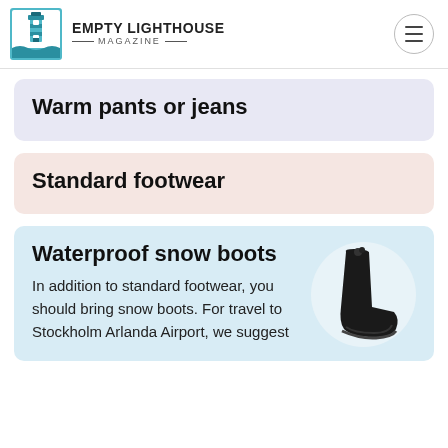EMPTY LIGHTHOUSE MAGAZINE
Warm pants or jeans
Standard footwear
Waterproof snow boots — In addition to standard footwear, you should bring snow boots. For travel to Stockholm Arlanda Airport, we suggest